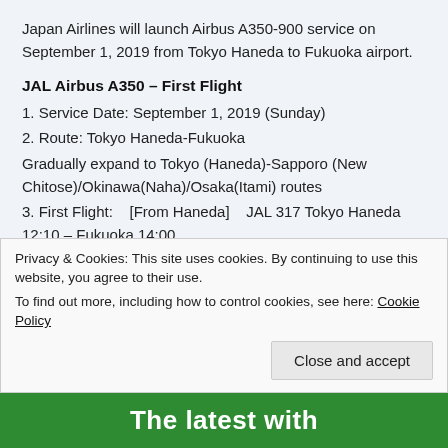Japan Airlines will launch Airbus A350-900 service on September 1, 2019 from Tokyo Haneda to Fukuoka airport.
JAL Airbus A350 – First Flight
1. Service Date: September 1, 2019 (Sunday)
2. Route: Tokyo Haneda-Fukuoka
Gradually expand to Tokyo (Haneda)-Sapporo (New Chitose)/Okinawa(Naha)/Osaka(Itami) routes
3. First Flight:    [From Haneda]    JAL 317 Tokyo Haneda 12:10 – Fukuoka 14:00
[From Fukuoka]   JAL 318 Fukuoka 15:00 – Tokyo Haneda 16:40
Privacy & Cookies: This site uses cookies. By continuing to use this website, you agree to their use.
To find out more, including how to control cookies, see here: Cookie Policy
Close and accept